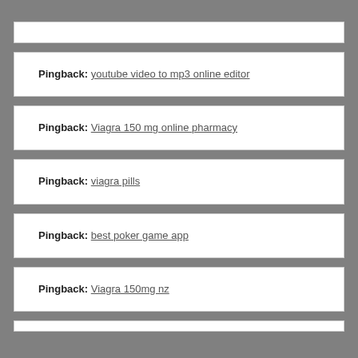Pingback: youtube video to mp3 online editor
Pingback: Viagra 150 mg online pharmacy
Pingback: viagra pills
Pingback: best poker game app
Pingback: Viagra 150mg nz